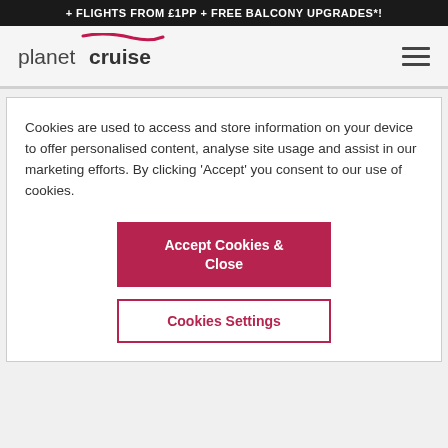+ FLIGHTS FROM £1PP + FREE BALCONY UPGRADES*!
[Figure (logo): Planet Cruise logo with stylized text and pink swoosh mark]
Cookies are used to access and store information on your device to offer personalised content, analyse site usage and assist in our marketing efforts. By clicking 'Accept' you consent to our use of cookies.
Accept Cookies & Close
Cookies Settings